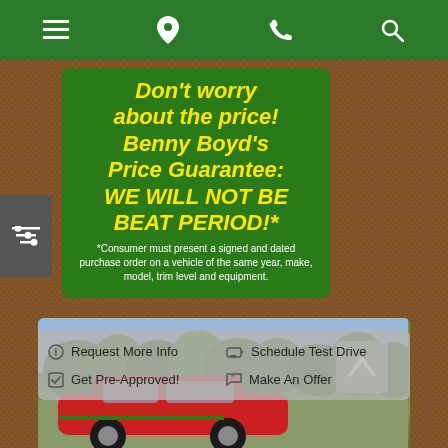Navigation bar with menu, location, phone, and search icons
[Figure (infographic): Green promotional box with yellow bold italic text reading: Don't worry about the price! Benny Boyd's Price Guarantee: WE WILL NOT BE BEAT PERIOD!* with white fine print disclaimer below]
*Consumer must present a signed and dated purchase order on a vehicle of the same year, make, model, trim level and equipment.
Request More Info | Schedule Test Drive | Get Pre-Approved! | Make An Offer
[Figure (photo): Red car photographed outdoors with green trees in background]